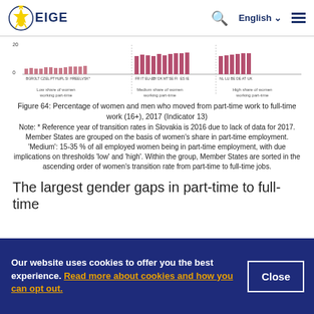EIGE | English
[Figure (bar-chart): Bar chart showing transition rates from part-time to full-time work grouped by low, medium, and high share of women working part-time across EU member states]
Figure 64: Percentage of women and men who moved from part-time work to full-time work (16+), 2017 (Indicator 13)
Note: * Reference year of transition rates in Slovakia is 2016 due to lack of data for 2017. Member States are grouped on the basis of women's share in part-time employment. 'Medium': 15-35 % of all employed women being in part-time employment, with due implications on thresholds 'low' and 'high'. Within the group, Member States are sorted in the ascending order of women's transition rate from part-time to full-time jobs.
The largest gender gaps in part-time to full-time
Our website uses cookies to offer you the best experience. Read more about cookies and how you can opt out.